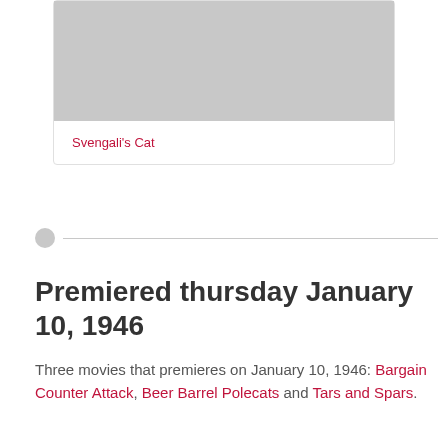[Figure (photo): Gray placeholder image at the top of a card]
Svengali's Cat
Premiered thursday January 10, 1946
Three movies that premieres on January 10, 1946: Bargain Counter Attack, Beer Barrel Polecats and Tars and Spars.